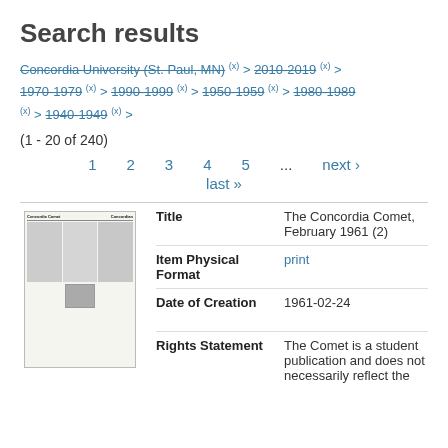Search results
Concordia University (St. Paul, MN) (x) > 2010-2019 (x) > 1970-1979 (x) > 1990-1999 (x) > 1950-1959 (x) > 1980-1989 (x) > 1940-1949 (x) >
(1 - 20 of 240)
1  2  3  4  5  ...  next ›
last »
|  | Field | Value |
| --- | --- | --- |
| [thumbnail] | Title | The Concordia Comet, February 1961 (2) |
|  | Item Physical Format | print |
|  | Date of Creation | 1961-02-24 |
|  | Rights Statement | The Comet is a student publication and does not necessarily reflect the |